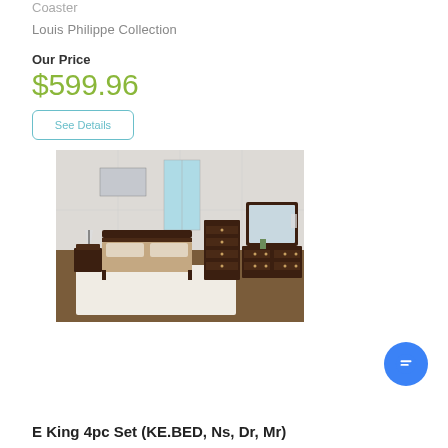Coaster
Louis Philippe Collection
Our Price
$599.96
See Details
[Figure (photo): Bedroom furniture set featuring a dark espresso E King bed with headboard, nightstand with lamp, tall chest dresser, and wide dresser with mirror, displayed in a styled room with wood floors and white walls.]
E King 4pc Set (KE.BED, Ns, Dr, Mr)